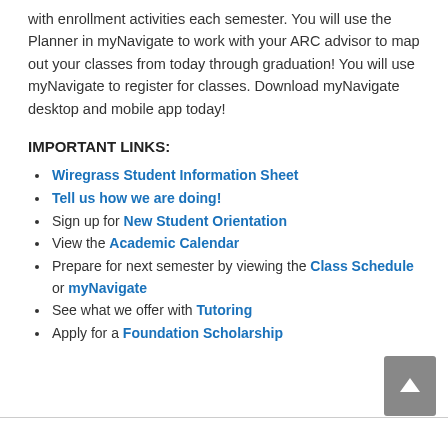with enrollment activities each semester. You will use the Planner in myNavigate to work with your ARC advisor to map out your classes from today through graduation! You will use myNavigate to register for classes. Download myNavigate desktop and mobile app today!
IMPORTANT LINKS:
Wiregrass Student Information Sheet
Tell us how we are doing!
Sign up for New Student Orientation
View the Academic Calendar
Prepare for next semester by viewing the Class Schedule or myNavigate
See what we offer with Tutoring
Apply for a Foundation Scholarship